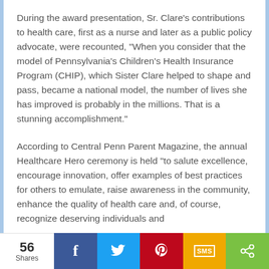During the award presentation, Sr. Clare's contributions to health care, first as a nurse and later as a public policy advocate, were recounted, "When you consider that the model of Pennsylvania's Children's Health Insurance Program (CHIP), which Sister Clare helped to shape and pass, became a national model, the number of lives she has improved is probably in the millions. That is a stunning accomplishment."
According to Central Penn Parent Magazine, the annual Healthcare Hero ceremony is held "to salute excellence, encourage innovation, offer examples of best practices for others to emulate, raise awareness in the community, enhance the quality of health care and, of course, recognize deserving individuals and
56 Shares | Facebook | Twitter | Pinterest | SMS | Share